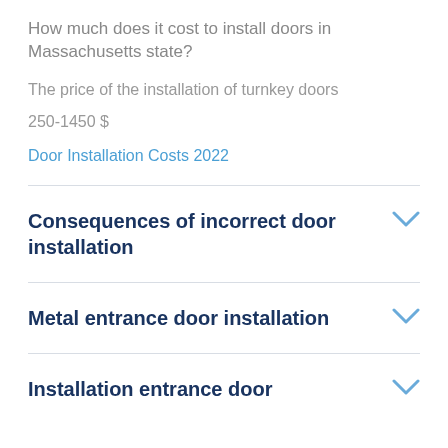How much does it cost to install doors in Massachusetts state?
The price of the installation of turnkey doors
250-1450 $
Door Installation Costs 2022
Consequences of incorrect door installation
Metal entrance door installation
Installation entrance door